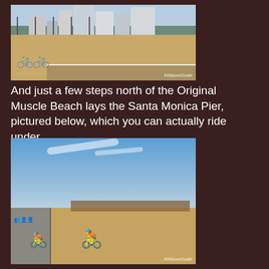[Figure (photo): Beach scene at Original Muscle Beach showing a paved bike path, sandy beach, bicycles parked, and city buildings in the background. Watermark reads #WilsonsGuide.]
And just a few steps north of the Original Muscle Beach lays the Santa Monica Pier, pictured below, which you can actually ride under.
[Figure (photo): Cyclists riding along the beachfront promenade toward the Santa Monica Pier, with the sandy beach and blue sky visible. Watermark reads #WilsonsGuide.]